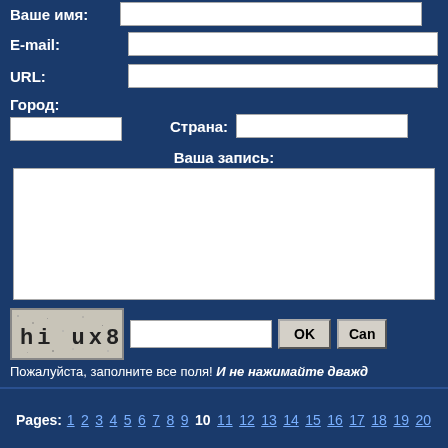Ваше имя:
E-mail:
URL:
Город:
Страна:
Ваша запись:
[Figure (other): CAPTCHA image showing text 'hi ux8' with noise background]
Пожалуйста, заполните все поля! И не нажимайте дважды
Pages: 1 2 3 4 5 6 7 8 9 10 11 12 13 14 15 16 17 18 19 20